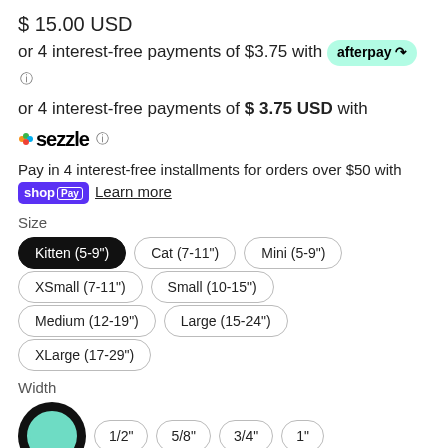$ 15.00 USD
or 4 interest-free payments of $3.75 with afterpay
or 4 interest-free payments of $ 3.75 USD with sezzle
Pay in 4 interest-free installments for orders over $50 with shop Pay Learn more
Size
Kitten (5-9")
Cat (7-11")
Mini (5-9")
XSmall (7-11")
Small (10-15")
Medium (12-19")
Large (15-24")
XLarge (17-29")
Width
1/2"
5/8"
3/4"
1"
Buckle Hardware